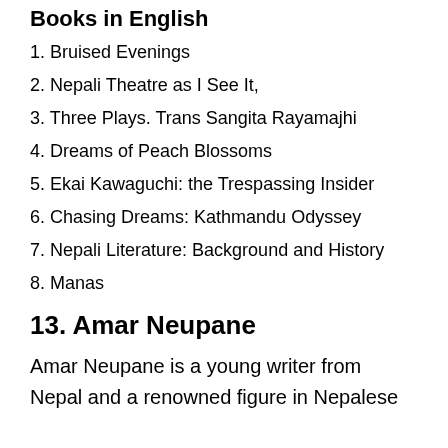Books in English
1. Bruised Evenings
2. Nepali Theatre as I See It,
3. Three Plays. Trans Sangita Rayamajhi
4. Dreams of Peach Blossoms
5. Ekai Kawaguchi: the Trespassing Insider
6. Chasing Dreams: Kathmandu Odyssey
7. Nepali Literature: Background and History
8. Manas
13. Amar Neupane
Amar Neupane is a young writer from Nepal and a renowned figure in Nepalese